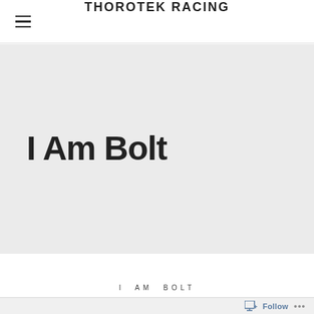THOROTEK RACING
I Am Bolt
I AM BOLT
Follow